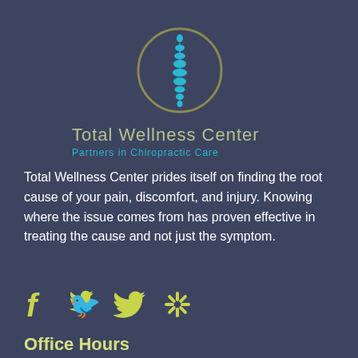[Figure (logo): Total Wellness Center logo: a circular emblem with olive/gold ring outline and a blue stylized spine/vertebrae column inside. Below the circle: 'Total Wellness Center' in olive/tan text, and 'Partners in Chiropractic Care' in cyan/teal text.]
Total Wellness Center prides itself on finding the root cause of your pain, discomfort, and injury. Knowing where the issue comes from has proven effective in treating the cause and not just the symptom.
[Figure (infographic): Three social media icons in yellow-green color: Facebook (f), Twitter (bird), Yelp (stylized asterisk/star).]
Office Hours